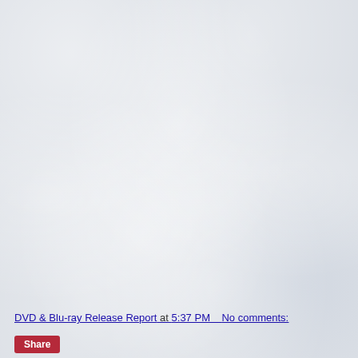[Figure (photo): Blank/empty pale blue-grey textured paper or wall surface filling most of the page]
DVD & Blu-ray Release Report at 5:37 PM    No comments:
Share